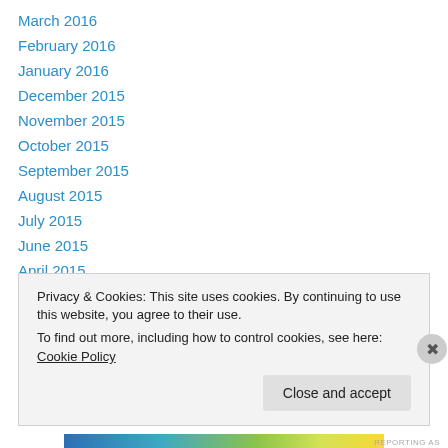March 2016
February 2016
January 2016
December 2015
November 2015
October 2015
September 2015
August 2015
July 2015
June 2015
April 2015
March 2015
February 2015
Privacy & Cookies: This site uses cookies. By continuing to use this website, you agree to their use. To find out more, including how to control cookies, see here: Cookie Policy
Close and accept